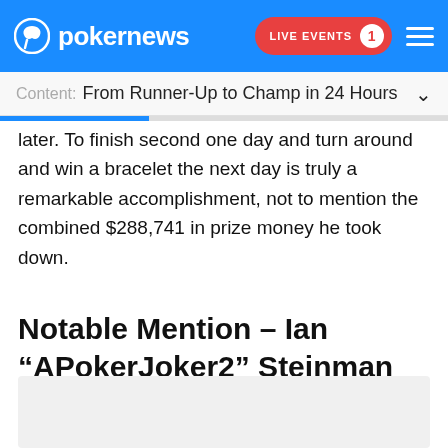pokernews  LIVE EVENTS 1
Content: From Runner-Up to Champ in 24 Hours
later. To finish second one day and turn around and win a bracelet the next day is truly a remarkable accomplishment, not to mention the combined $288,741 in prize money he took down.
Notable Mention – Ian “APokerJoker2” Steinman
[Figure (photo): Gray placeholder image box]